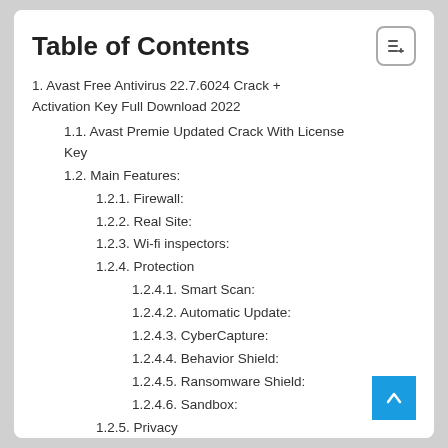Table of Contents
1. Avast Free Antivirus 22.7.6024 Crack + Activation Key Full Download 2022
1.1. Avast Premie Updated Crack With License Key
1.2. Main Features:
1.2.1. Firewall:
1.2.2. Real Site:
1.2.3. Wi-fi inspectors:
1.2.4. Protection
1.2.4.1. Smart Scan:
1.2.4.2. Automatic Update:
1.2.4.3. CyberCapture:
1.2.4.4. Behavior Shield:
1.2.4.5. Ransomware Shield:
1.2.4.6. Sandbox:
1.2.5. Privacy
1.2.5.1. Passwords:
1.2.5.2. Data Shredder: